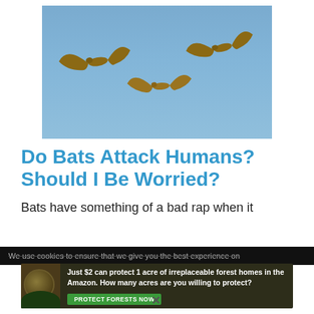[Figure (photo): Three bats flying against a blue sky background]
Do Bats Attack Humans? Should I Be Worried?
Bats have something of a bad rap when it
We use cookies to ensure that we give you the best experience on
[Figure (infographic): Advertisement banner: Just $2 can protect 1 acre of irreplaceable forest homes in the Amazon. How many acres are you willing to protect? PROTECT FORESTS NOW]